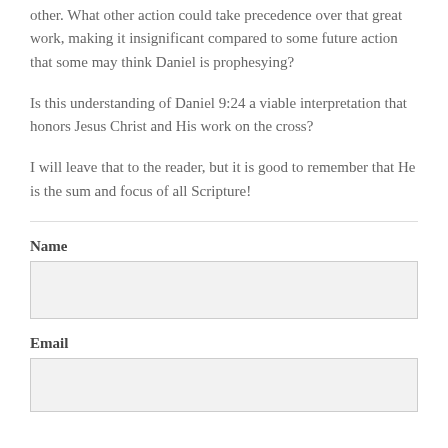other. What other action could take precedence over that great work, making it insignificant compared to some future action that some may think Daniel is prophesying?
Is this understanding of Daniel 9:24 a viable interpretation that honors Jesus Christ and His work on the cross?
I will leave that to the reader, but it is good to remember that He is the sum and focus of all Scripture!
Name
Email